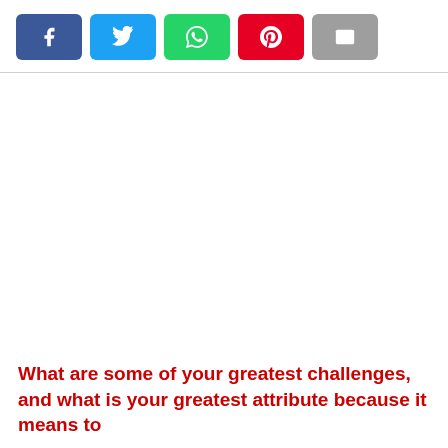[Figure (infographic): Social media share buttons: Facebook (blue), Twitter (light blue), WhatsApp (green), Pinterest (red), Email (grey)]
What are some of your greatest challenges, and what is your greatest attribute because it means to